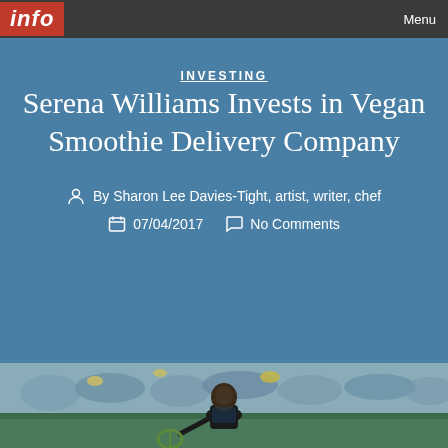Info | Menu
INVESTING
Serena Williams Invests in Vegan Smoothie Delivery Company
By Sharon Lee Davies-Tight, artist, writer, chef
07/04/2017  No Comments
[Figure (photo): Photo of Serena Williams holding a tennis racket, with crowd in background]